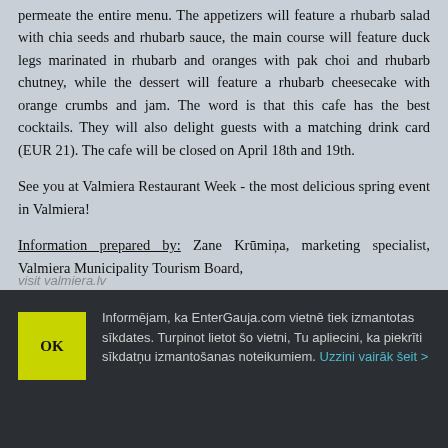permeate the entire menu. The appetizers will feature a rhubarb salad with chia seeds and rhubarb sauce, the main course will feature duck legs marinated in rhubarb and oranges with pak choi and rhubarb chutney, while the dessert will feature a rhubarb cheesecake with orange crumbs and jam. The word is that this cafe has the best cocktails. They will also delight guests with a matching drink card (EUR 21). The cafe will be closed on April 18th and 19th.
See you at Valmiera Restaurant Week - the most delicious spring event in Valmiera!
Information prepared by: Zane Krūmiņa, marketing specialist, Valmiera Municipality Tourism Board,
Informējam, ka EnterGauja.com vietnē tiek izmantotas sīkdates. Turpinot lietot šo vietni, Tu apliecini, ka piekrīti sīkdatņu izmantošanas noteikumiem. Uzzini vairāk šeit >